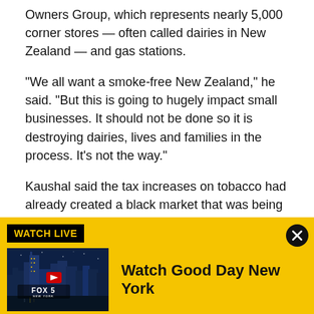Owners Group, which represents nearly 5,000 corner stores — often called dairies in New Zealand — and gas stations.
"We all want a smoke-free New Zealand," he said. "But this is going to hugely impact small businesses. It should not be done so it is destroying dairies, lives and families in the process. It's not the way."
Kaushal said the tax increases on tobacco had already created a black market that was being exploited by gangs, and the problem would only get worse. He said
[Figure (screenshot): FOX 5 New York 'Watch Live' banner advertisement with yellow background, showing 'WATCH LIVE' label in black box, a FOX 5 NEW YORK thumbnail image with play button, and the text 'Watch Good Day New York' in bold. A close (X) button appears in the top right.]